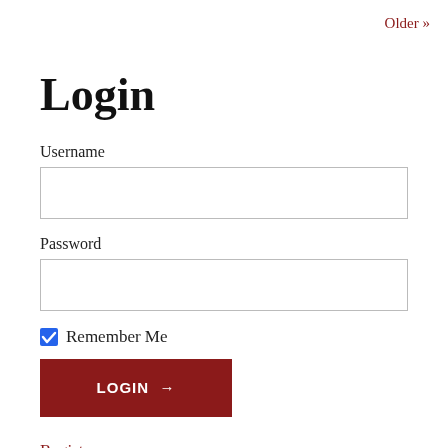Older »
Login
Username
Password
Remember Me
LOGIN →
Register